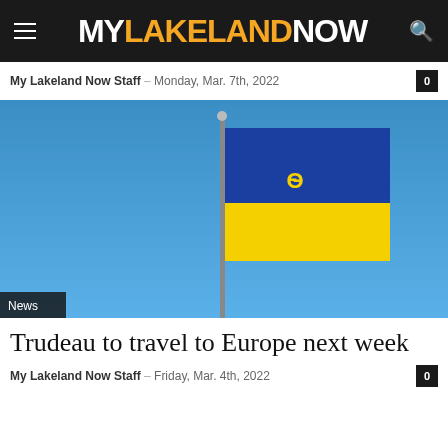MY LAKELAND NOW
My Lakeland Now Staff – Monday, Mar. 7th, 2022
[Figure (photo): Ukrainian flag flying on a flagpole against a clear blue sky, with the blue and yellow horizontal bands and the trident coat of arms visible. A 'News' badge appears in the bottom left corner.]
Trudeau to travel to Europe next week
My Lakeland Now Staff – Friday, Mar. 4th, 2022